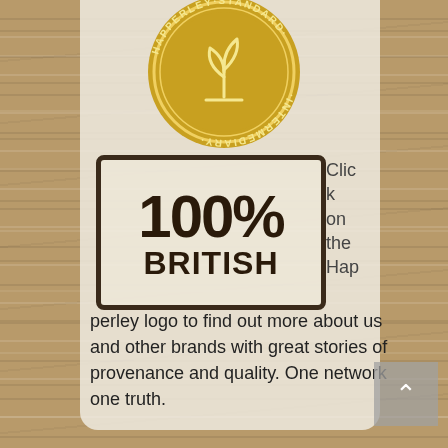[Figure (logo): Happerley Standard Intermediary gold circular badge/seal with a plant/sprout icon in the center]
[Figure (illustration): Rubber stamp style image reading '100% BRITISH' with a rectangular border, dark brown stamp look]
Click on the Happerley logo to find out more about us and other brands with great stories of provenance and quality. One network one truth.